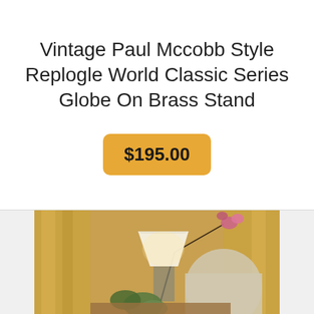Vintage Paul Mccobb Style Replogle World Classic Series Globe On Brass Stand
$195.00
[Figure (photo): Interior room scene showing a lamp with white shade, an orchid plant with pink flowers, and upholstered chair in background with warm golden curtains]